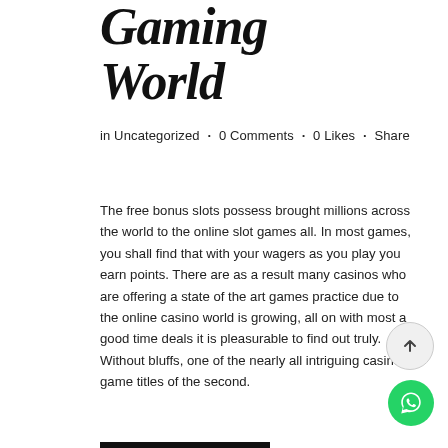Gaming World
in Uncategorized · 0 Comments · 0 Likes · Share
The free bonus slots possess brought millions across the world to the online slot games all. In most games, you shall find that with your wagers as you play you earn points. There are as a result many casinos who are offering a state of the art games practice due to the online casino world is growing, all on with most a good time deals it is pleasurable to find out truly. Without bluffs, one of the nearly all intriguing casino game titles of the second.